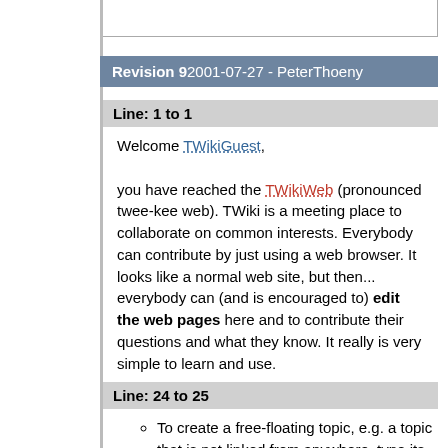Revision 9 2001-07-27 - PeterThoeny
Line: 1 to 1
Welcome TWikiGuest,

you have reached the TWikiWeb (pronounced twee-kee web). TWiki is a meeting place to collaborate on common interests. Everybody can contribute by just using a web browser. It looks like a normal web site, but then... everybody can (and is encouraged to) edit the web pages here and to contribute their questions and what they know. It really is very simple to learn and use.
Line: 24 to 25
To create a free-floating topic, e.g. a topic that is not linked from anywhere, type its WikiWord in the entry field at the top of any page. If the topic already exists you'll then be taken to